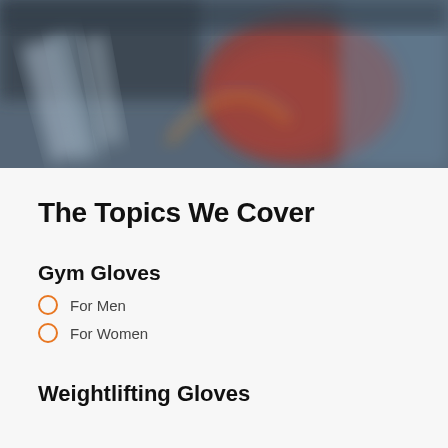[Figure (photo): Blurred close-up photo of gym gloves or exercise equipment with dark, reddish and blue tones]
The Topics We Cover
Gym Gloves
For Men
For Women
Weightlifting Gloves